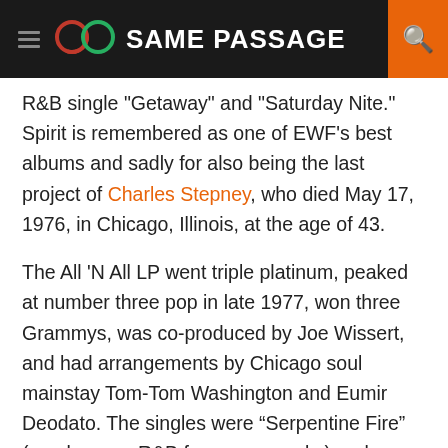SAME PASSAGE
R&B single "Getaway" and "Saturday Nite." Spirit is remembered as one of EWF's best albums and sadly for also being the last project of Charles Stepney, who died May 17, 1976, in Chicago, Illinois, at the age of 43.
The All 'N All LP went triple platinum, peaked at number three pop in late 1977, won three Grammys, was co-produced by Joe Wissert, and had arrangements by Chicago soul mainstay Tom-Tom Washington and Eumir Deodato. The singles were “Serpentine Fire” (number one R&B for seven weeks) and “Fantasy.” The platinum greatest-hits set The Best of Earth, Wind & Fire, Vol. 1 included a cover of the Beatles’ “Got to Get You into My Life,” which went to number one R&B and number nine in summer 1978 (the flip side, the gentle acoustic guitar ballad “I’ll Write a Song for You” with lead vocals by Bailey,